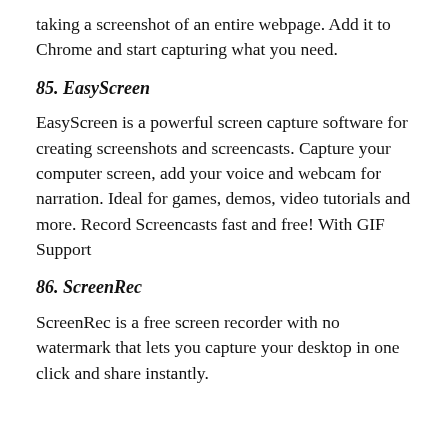taking a screenshot of an entire webpage. Add it to Chrome and start capturing what you need.
85. EasyScreen
EasyScreen is a powerful screen capture software for creating screenshots and screencasts. Capture your computer screen, add your voice and webcam for narration. Ideal for games, demos, video tutorials and more. Record Screencasts fast and free! With GIF Support
86. ScreenRec
ScreenRec is a free screen recorder with no watermark that lets you capture your desktop in one click and share instantly.